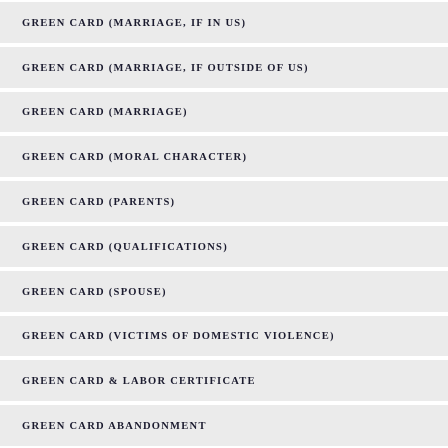GREEN CARD (MARRIAGE, IF IN US)
GREEN CARD (MARRIAGE, IF OUTSIDE OF US)
GREEN CARD (MARRIAGE)
GREEN CARD (MORAL CHARACTER)
GREEN CARD (PARENTS)
GREEN CARD (QUALIFICATIONS)
GREEN CARD (SPOUSE)
GREEN CARD (VICTIMS OF DOMESTIC VIOLENCE)
GREEN CARD & LABOR CERTIFICATE
GREEN CARD ABANDONMENT